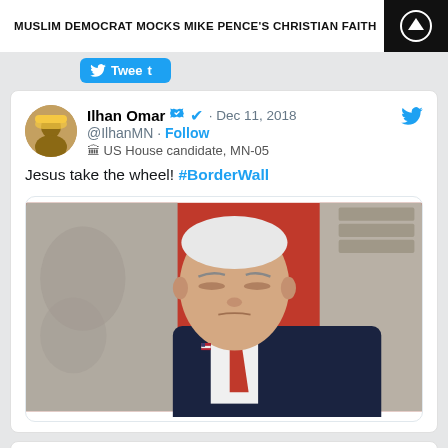MUSLIM DEMOCRAT MOCKS MIKE PENCE'S CHRISTIAN FAITH
Tweet
Ilhan Omar · Dec 11, 2018
@IlhanMN · Follow
US House candidate, MN-05

Jesus take the wheel! #BorderWall
[Figure (photo): Photo of Mike Pence with eyes closed, wearing a navy suit and red tie, seated in front of a red background with decorative wall detail]
Vield
@VieldKaileen · Follow